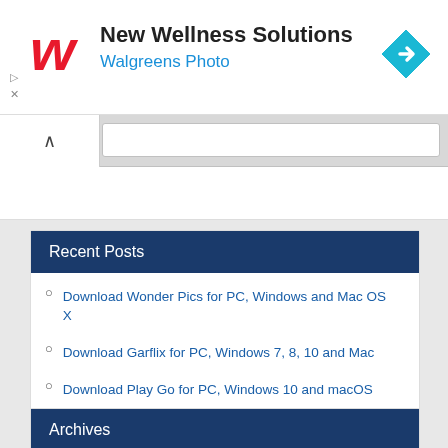[Figure (logo): Walgreens red stylized W logo]
New Wellness Solutions
Walgreens Photo
[Figure (illustration): Blue diamond navigation/direction icon with right-turn arrow]
Recent Posts
Download Wonder Pics for PC, Windows and Mac OS X
Download Garflix for PC, Windows 7, 8, 10 and Mac
Download Play Go for PC, Windows 10 and macOS
Download Elona Mobile for PC, Windows 10 and Mac
Download GoPro Quik for PC, Windows 10 and OS X
Archives